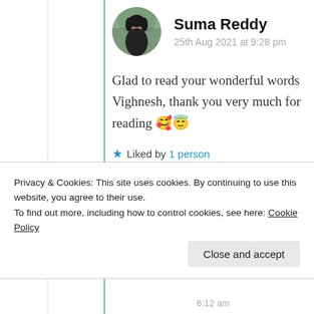Suma Reddy
25th Aug 2021 at 9:28 pm
Glad to read your wonderful words Vighnesh, thank you very much for reading 🥰😇
★ Liked by 1 person
Log in to Reply
Privacy & Cookies: This site uses cookies. By continuing to use this website, you agree to their use.
To find out more, including how to control cookies, see here: Cookie Policy
Close and accept